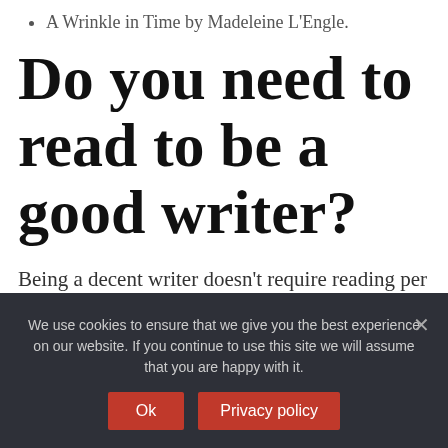A Wrinkle in Time by Madeleine L'Engle.
Do you need to read to be a good writer?
Being a decent writer doesn't require reading per se, but it helps. When writing novels, it helps to know whats already been done, especially in your genre. It also helps to know what current trends are, what sells well and why, and where the other writers in your genre are going.
We use cookies to ensure that we give you the best experience on our website. If you continue to use this site we will assume that you are happy with it.